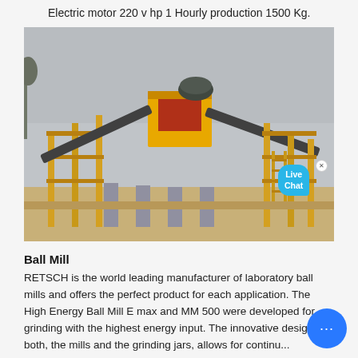Electric motor 220 v hp 1 Hourly production 1500 Kg.
[Figure (photo): Large industrial yellow crushing/screening plant machinery with conveyor belts, set outdoors on sandy ground with overcast sky]
Ball Mill
RETSCH is the world leading manufacturer of laboratory ball mills and offers the perfect product for each application. The High Energy Ball Mill E max and MM 500 were developed for grinding with the highest energy input. The innovative design of both, the mills and the grinding jars, allows for continuous